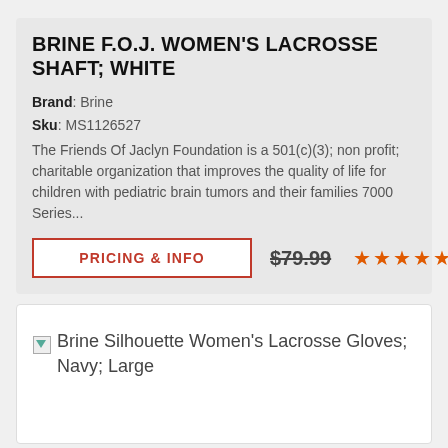BRINE F.O.J. WOMEN'S LACROSSE SHAFT; WHITE
Brand: Brine
Sku: MS1126527
The Friends Of Jaclyn Foundation is a 501(c)(3); non profit; charitable organization that improves the quality of life for children with pediatric brain tumors and their families 7000 Series...
PRICING & INFO
$79.99
[Figure (other): Five orange star rating icons]
[Figure (other): Broken image placeholder for Brine Silhouette Women's Lacrosse Gloves; Navy; Large]
Brine Silhouette Women's Lacrosse Gloves; Navy; Large